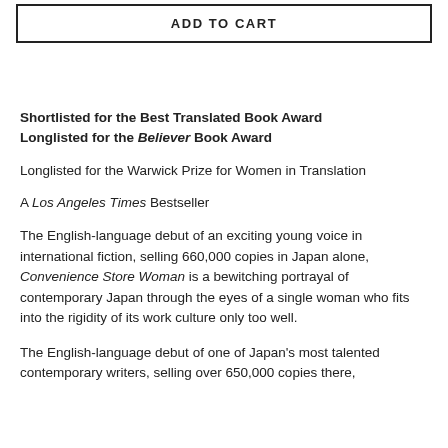ADD TO CART
Shortlisted for the Best Translated Book Award
Longlisted for the Believer Book Award
Longlisted for the Warwick Prize for Women in Translation
A Los Angeles Times Bestseller
The English-language debut of an exciting young voice in international fiction, selling 660,000 copies in Japan alone, Convenience Store Woman is a bewitching portrayal of contemporary Japan through the eyes of a single woman who fits into the rigidity of its work culture only too well.
The English-language debut of one of Japan's most talented contemporary writers, selling over 650,000 copies there,